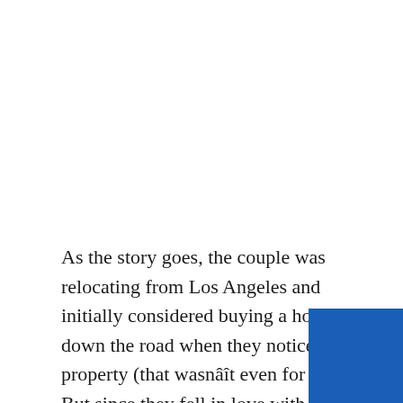As the story goes, the couple was relocating from Los Angeles and initially considered buying a house down the road when they noticed this property (that wasnâît even for sale). But since they fell in love with it, the couple went ahead and asked the previous owners if they'd be willing to sell. And since it's not easy resisting Jensen Ackles' charms, they manage convince the owners so the Acklesâî moved on to the